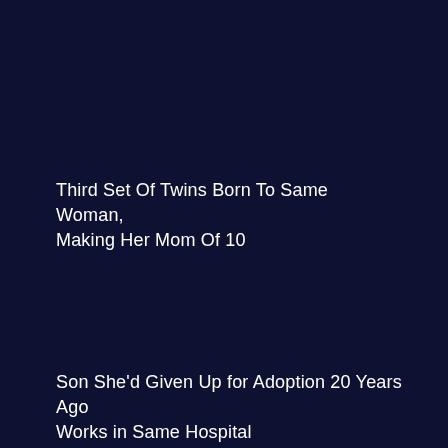Third Set Of Twins Born To Same Woman, Making Her Mom Of 10
Son She'd Given Up for Adoption 20 Years Ago Works in Same Hospital